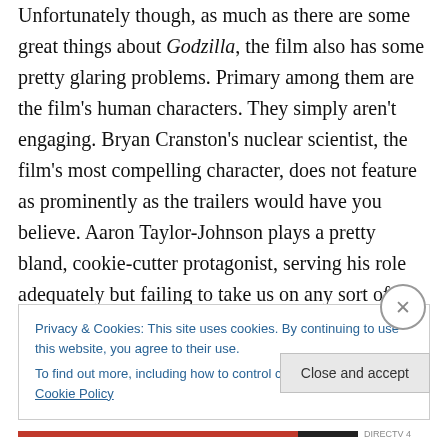Unfortunately though, as much as there are some great things about Godzilla, the film also has some pretty glaring problems. Primary among them are the film's human characters. They simply aren't engaging. Bryan Cranston's nuclear scientist, the film's most compelling character, does not feature as prominently as the trailers would have you believe. Aaron Taylor-Johnson plays a pretty bland, cookie-cutter protagonist, serving his role adequately but failing to take us on any sort of emotional journey. Elizabeth Olsen, who is a really good young actress, is the most underutilised, getting little more to do than wait by
Privacy & Cookies: This site uses cookies. By continuing to use this website, you agree to their use.
To find out more, including how to control cookies, see here: Cookie Policy
Close and accept